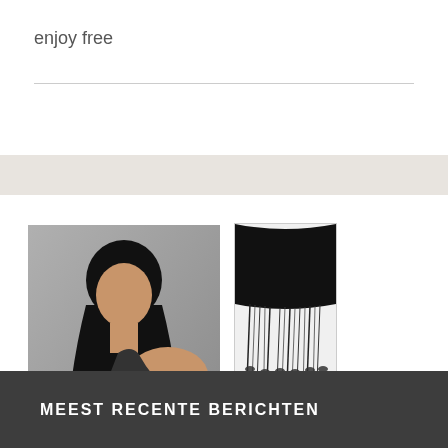enjoy free
[Figure (photo): Woman with long straight black hair extensions, shown from behind/side]
[Figure (photo): Close-up black and white photo of micro ring/loop hair extensions]
[Figure (photo): Small black micro ring beads/loops for hair extensions]
MEEST RECENTE BERICHTEN